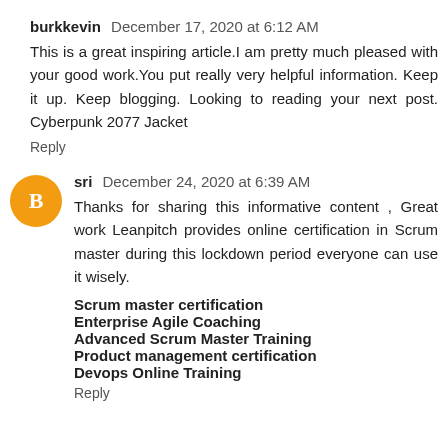burkkevin  December 17, 2020 at 6:12 AM
This is a great inspiring article.I am pretty much pleased with your good work.You put really very helpful information. Keep it up. Keep blogging. Looking to reading your next post. Cyberpunk 2077 Jacket
Reply
sri  December 24, 2020 at 6:39 AM
Thanks for sharing this informative content , Great work Leanpitch provides online certification in Scrum master during this lockdown period everyone can use it wisely.
Scrum master certification
Enterprise Agile Coaching
Advanced Scrum Master Training
Product management certification
Devops Online Training
Reply